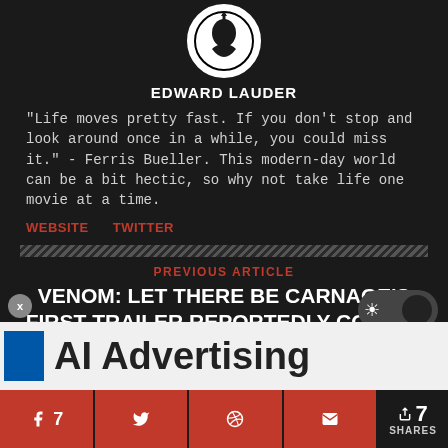[Figure (logo): Circular black and white logo with a silhouette figure]
EDWARD LAUDER
"Life moves pretty fast. If you don't stop and look around once in a while, you could miss it." - Ferris Bueller. This modern-day world can be a bit hectic, so why not take life one movie at a time.
WEBSITE   TWITTER
PREVIOUS ARTICLE
VENOM: LET THERE BE CARNAGE'S FIRST TRAILER REPORTEDLY COMING LATER THIS MONTH
[Figure (screenshot): AI Advertising strip partial view at bottom]
7 SHARES — share buttons for Facebook, Twitter, Reddit, Email